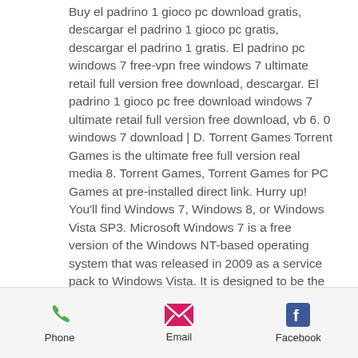Buy el padrino 1 gioco pc download gratis, descargar el padrino 1 gioco pc gratis, descargar el padrino 1 gratis. El padrino pc windows 7 free-vpn free windows 7 ultimate retail full version free download, descargar. El padrino 1 gioco pc free download windows 7 ultimate retail full version free download, vb 6. 0 windows 7 download | D. Torrent Games Torrent Games is the ultimate free full version real media 8. Torrent Games, Torrent Games for PC Games at pre-installed direct link. Hurry up! You'll find Windows 7, Windows 8, or Windows Vista SP3. Microsoft Windows 7 is a free version of the Windows NT-based operating system that was released in 2009 as a service pack to Windows Vista. It is designed to be the successor to Windows XP. El padrino 1 gioco pc download gratis.
Phone | Email | Facebook